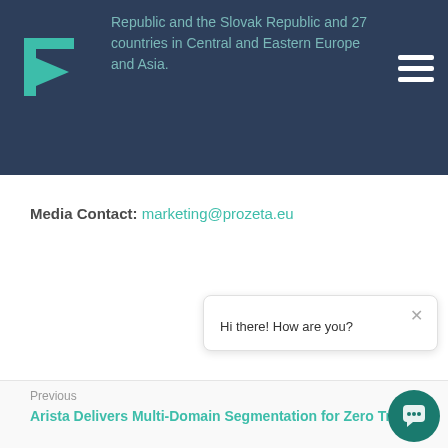Republic and the Slovak Republic and 27 countries in Central and Eastern Europe and Asia.
Media Contact: marketing@prozeta.eu
[Figure (other): Chat popup widget with close button and message: Hi there! How are you?]
Previous
Arista Delivers Multi-Domain Segmentation for Zero Trust